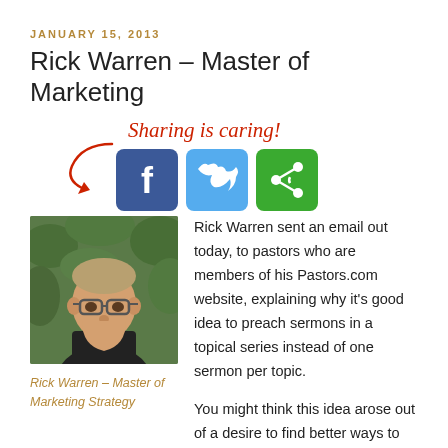JANUARY 15, 2013
Rick Warren – Master of Marketing
[Figure (infographic): Sharing is caring! text in red handwritten style with a red arrow pointing down-left to three social share buttons: Facebook (blue), Twitter (light blue), and a green share button.]
[Figure (photo): Portrait photo of Rick Warren, a middle-aged man with glasses, wearing a black shirt, standing in front of green foliage.]
Rick Warren – Master of Marketing Strategy
Rick Warren sent an email out today, to pastors who are members of his Pastors.com website, explaining why it's good idea to preach sermons in a topical series instead of one sermon per topic.
You might think this idea arose out of a desire to find better ways to convey sound Biblical teachings to his listeners in a way that would help